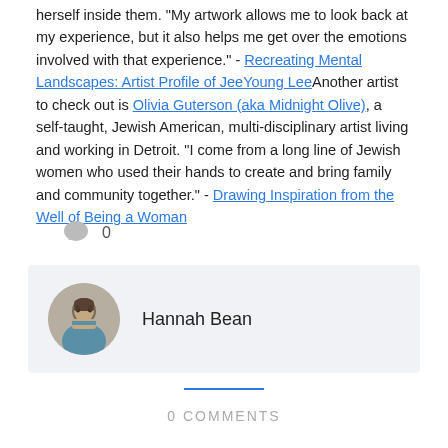herself inside them. "My artwork allows me to look back at my experience, but it also helps me get over the emotions involved with that experience." - Recreating Mental Landscapes: Artist Profile of JeeYoung LeeAnother artist to check out is Olivia Guterson (aka Midnight Olive), a self-taught, Jewish American, multi-disciplinary artist living and working in Detroit. "I come from a long line of Jewish women who used their hands to create and bring family and community together." - Drawing Inspiration from the Well of Being a Woman
[Figure (other): Comment icon with count 0]
Hannah Bean
0 COMMENTS